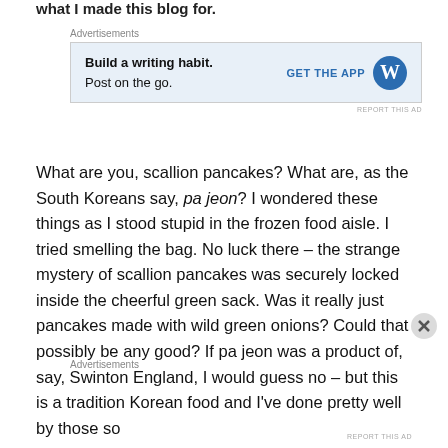what I made this blog for.
Advertisements
[Figure (other): WordPress advertisement banner: 'Build a writing habit. Post on the go.' with GET THE APP button and WordPress logo]
What are you, scallion pancakes? What are, as the South Koreans say, pa jeon? I wondered these things as I stood stupid in the frozen food aisle. I tried smelling the bag. No luck there – the strange mystery of scallion pancakes was securely locked inside the cheerful green sack. Was it really just pancakes made with wild green onions? Could that possibly be any good? If pa jeon was a product of, say, Swinton England, I would guess no – but this is a tradition Korean food and I’ve done pretty well by those so
Advertisements